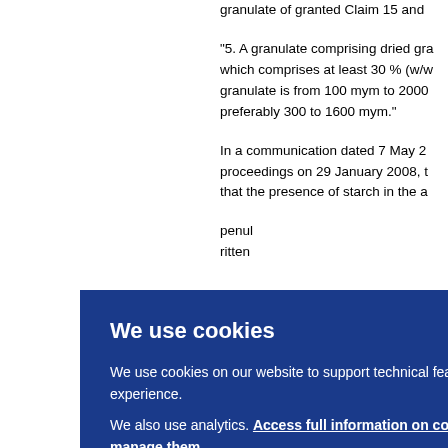granulate of granted Claim 15 and...
"5. A granulate comprising dried gra... which comprises at least 30 % (w/w... granulate is from 100 mym to 2000... preferably 300 to 1600 mym."
In a communication dated 7 May 2... proceedings on 29 January 2008, t... that the presence of starch in the a...
...penul... ...ritten...
...2007... ...d ma... ...the p...
...ed gra... ...at lea... ...00 m...
[Figure (other): Cookie consent overlay banner with blue background, title 'We use cookies', body text about cookie usage, an OK button, and a link to full cookie information.]